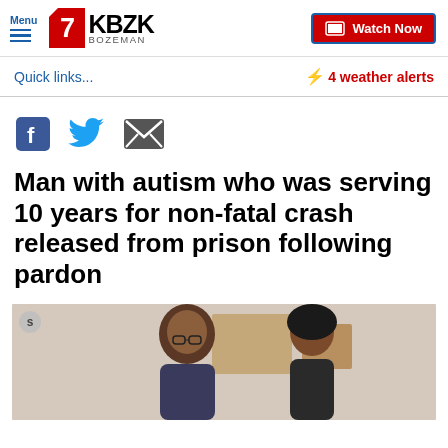Menu | 7 KBZK BOZEMAN | Watch Now
Quick links...
⚡ 4 weather alerts
[Figure (other): Social sharing icons: Facebook, Twitter, Email]
Man with autism who was serving 10 years for non-fatal crash released from prison following pardon
[Figure (photo): Photo of two people indoors, a man with glasses and a woman, with wall art in background]